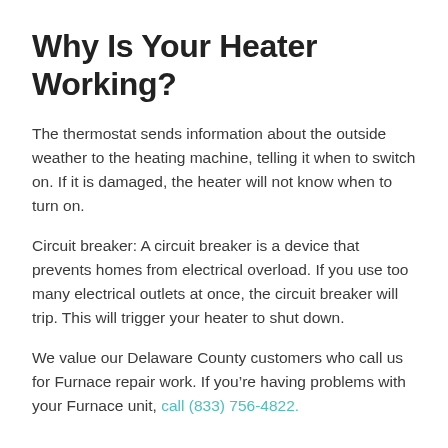Why Is Your Heater Working?
The thermostat sends information about the outside weather to the heating machine, telling it when to switch on. If it is damaged, the heater will not know when to turn on.
Circuit breaker: A circuit breaker is a device that prevents homes from electrical overload. If you use too many electrical outlets at once, the circuit breaker will trip. This will trigger your heater to shut down.
We value our Delaware County customers who call us for Furnace repair work. If you’re having problems with your Furnace unit, call (833) 756-4822.